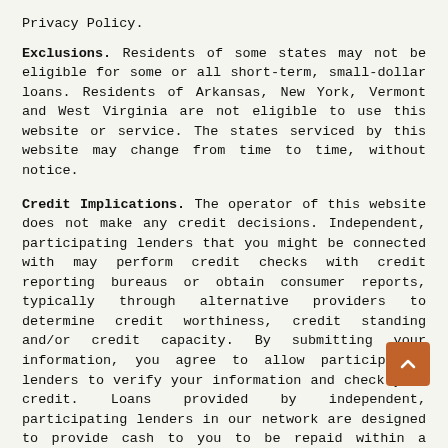Privacy Policy.
Exclusions. Residents of some states may not be eligible for some or all short-term, small-dollar loans. Residents of Arkansas, New York, Vermont and West Virginia are not eligible to use this website or service. The states serviced by this website may change from time to time, without notice.
Credit Implications. The operator of this website does not make any credit decisions. Independent, participating lenders that you might be connected with may perform credit checks with credit reporting bureaus or obtain consumer reports, typically through alternative providers to determine credit worthiness, credit standing and/or credit capacity. By submitting your information, you agree to allow participating lenders to verify your information and check your credit. Loans provided by independent, participating lenders in our network are designed to provide cash to you to be repaid within a short amount of time. The short-term loans are not a solution for long-term debt and credit difficulties. Only borrow an amount that can be repaid on the date of your next pay period. Consider seeking professional advice regarding your financial needs, risks and alternatives to short-term loans. Late Payments of loans may result in additional